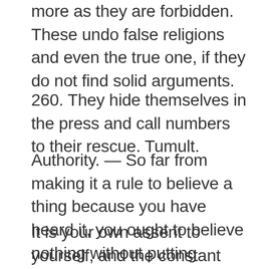more as they are forbidden. These undo false religions and even the true one, if they do not find solid arguments.
260. They hide themselves in the press and call numbers to their rescue. Tumult.
Authority. — So far from making it a rule to believe a thing because you have heard it, you ought to believe nothing without putting yourself into the position as if you had never heard it.
It is your own assent to yourself, and the constant voice of your own reason, and not of others, that